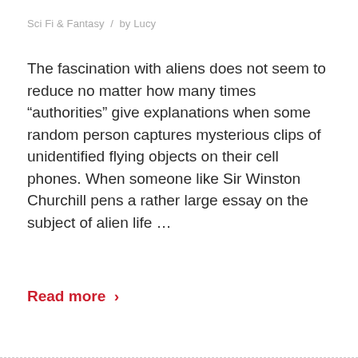Sci Fi & Fantasy  /  by Lucy
The fascination with aliens does not seem to reduce no matter how many times “authorities” give explanations when some random person captures mysterious clips of unidentified flying objects on their cell phones. When someone like Sir Winston Churchill pens a rather large essay on the subject of alien life…
Read more ›